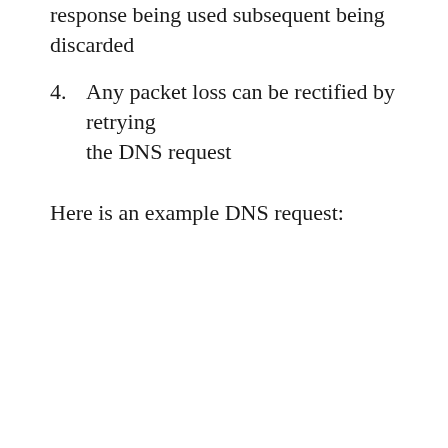response being used subsequent being discarded
4. Any packet loss can be rectified by retrying the DNS request
Here is an example DNS request: